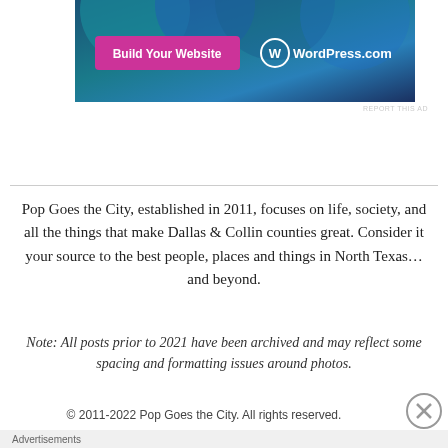[Figure (screenshot): WordPress.com advertisement banner with dark blue gradient background, teal/blue circular shapes, a pink 'Build Your Website' button on the left, and WordPress.com logo with text on the right.]
REPORT THIS AD
Pop Goes the City, established in 2011, focuses on life, society, and all the things that make Dallas & Collin counties great. Consider it your source to the best people, places and things in North Texas…and beyond.
Note: All posts prior to 2021 have been archived and may reflect some spacing and formatting issues around photos.
© 2011-2022 Pop Goes the City. All rights reserved.
Advertisements